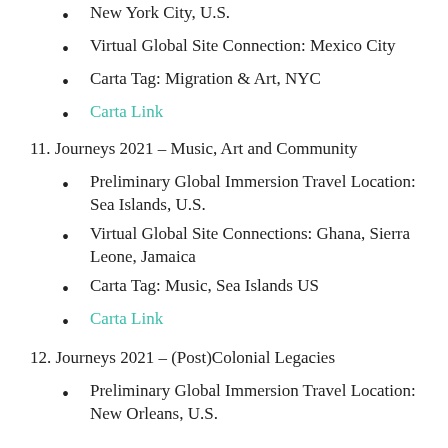New York City, U.S.
Virtual Global Site Connection: Mexico City
Carta Tag:  Migration & Art, NYC
Carta Link
11. Journeys 2021 – Music, Art and Community
Preliminary Global Immersion Travel Location: Sea Islands, U.S.
Virtual Global Site Connections:  Ghana, Sierra Leone, Jamaica
Carta Tag:  Music, Sea Islands US
Carta Link
12. Journeys 2021 – (Post)Colonial Legacies
Preliminary Global Immersion Travel Location: New Orleans, U.S.